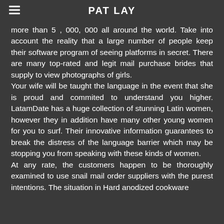PAT LAY
more than 5 , 000, 000 all around the world. Take into account the reality that a large number of people keep their software program of seeing platforms in secret. There are many top-rated and legit mail purchase brides that supply to view photographs of girls. Your wife will be taught the language in the event that she is proud and commited to understand you higher. LatamDate has a huge collection of stunning Latin women, however they in addition have many other young women for you to surf. Their innovative information guarantees to break the distress of the language barrier which may be stopping you from speaking with these kinds of women. At any rate, the customers happen to be thoroughly examined to use snail mail order suppliers with the purest intentions. The situation in Hard anodized cookware